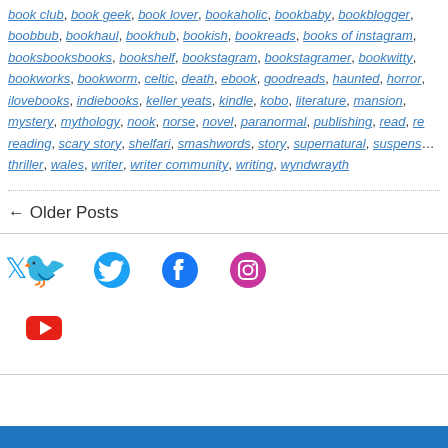book club, book geek, book lover, bookaholic, bookbaby, bookblogger, boobbub, bookhaul, bookhub, bookish, bookreads, books of instagram, booksbooksbooks, bookshelf, bookstagram, bookstagramer, bookwitty, bookworks, bookworm, celtic, death, ebook, goodreads, haunted, horror, ilovebooks, indiebooks, keller yeats, kindle, kobo, literature, mansion, mystery, mythology, nook, norse, novel, paranormal, publishing, read, re..., reading, scary story, shelfari, smashwords, story, supernatural, suspens..., thriller, wales, writer, writer community, writing, wyndwrayth
← Older Posts
[Figure (infographic): Social media icons: Twitter (blue bird), Facebook (blue circle with f), Instagram (pink/magenta circle with camera outline), YouTube (red rectangle with play triangle)]